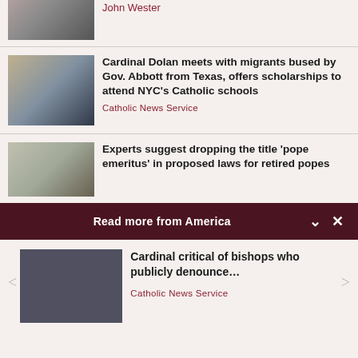[Figure (photo): Partial photo of people at top of page, cropped]
John Wester
[Figure (photo): Cardinal Dolan speaking at podium with people around him]
Cardinal Dolan meets with migrants bused by Gov. Abbott from Texas, offers scholarships to attend NYC's Catholic schools
Catholic News Service
[Figure (photo): Two men in white sitting and conversing, partial view]
Experts suggest dropping the title 'pope emeritus' in proposed laws for retired popes
Read more from America
[Figure (photo): Three bishops/cardinals in black clerical attire]
Cardinal critical of bishops who publicly denounce…
Catholic News Service